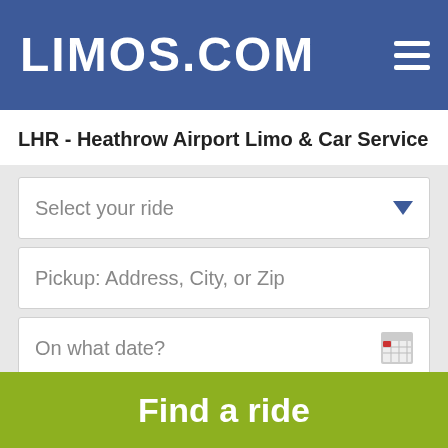LIMOS.COM
LHR - Heathrow Airport Limo & Car Service
[Figure (screenshot): Web booking form with fields: Select your ride (dropdown), Pickup: Address, City, or Zip (text input), On what date? (date input with calendar icon), Pick up hour (dropdown), :00 (dropdown), Number of passengers (dropdown)]
Find a ride